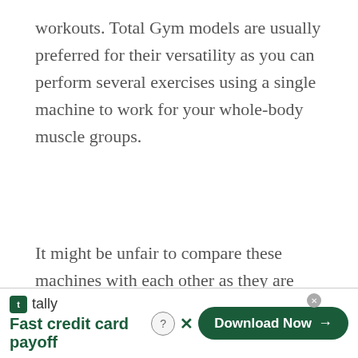workouts. Total Gym models are usually preferred for their versatility as you can perform several exercises using a single machine to work for your whole-body muscle groups.
It might be unfair to compare these machines with each other as they are made for different purposes. However, it would be apt to know which machines serve
[Figure (other): Tally app advertisement banner: Tally logo with text 'Fast credit card payoff' on the left, and a 'Download Now' button with arrow on the right. A close/help button is shown in the top-right corner of the ad.]